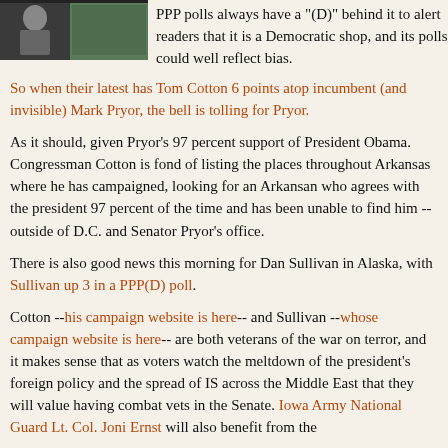[Figure (photo): Partial photo of a person at what appears to be a hearing or meeting, visible in upper left corner of page.]
PPP polls always have a "(D)" behind it to alert readers that it is a Democratic shop, and its polls could well reflect bias.
So when their latest has Tom Cotton 6 points atop incumbent (and invisible) Mark Pryor, the bell is tolling for Pryor.
As it should, given Pryor's 97 percent support of President Obama. Congressman Cotton is fond of listing the places throughout Arkansas where he has campaigned, looking for an Arkansan who agrees with the president 97 percent of the time and has been unable to find him --outside of D.C. and Senator Pryor's office.
There is also good news this morning for Dan Sullivan in Alaska, with Sullivan up 3 in a PPP(D) poll.
Cotton --his campaign website is here-- and Sullivan --whose campaign website is here-- are both veterans of the war on terror, and it makes sense that as voters watch the meltdown of the president's foreign policy and the spread of IS across the Middle East that they will value having combat vets in the Senate. Iowa Army National Guard Lt. Col. Joni Ernst will also benefit from the